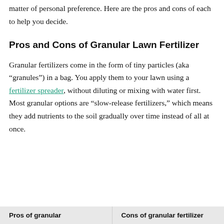matter of personal preference. Here are the pros and cons of each to help you decide.
Pros and Cons of Granular Lawn Fertilizer
Granular fertilizers come in the form of tiny particles (aka “granules”) in a bag. You apply them to your lawn using a fertilizer spreader, without diluting or mixing with water first. Most granular options are “slow-release fertilizers,” which means they add nutrients to the soil gradually over time instead of all at once.
| Pros of granular | Cons of granular fertilizer |
| --- | --- |